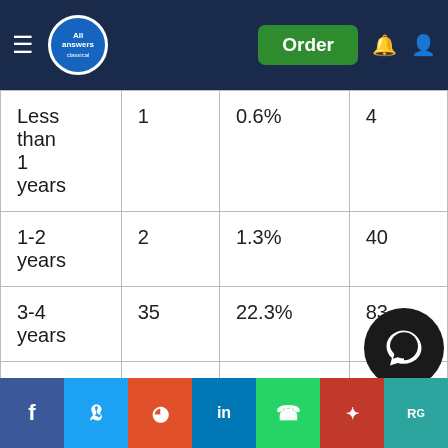All Answers — navigation bar with Order button
| Less than 1 years | 1 | 0.6% | 4 |
| 1-2 years | 2 | 1.3% | 40 |
| 3-4 years | 35 | 22.3% | 83 |
| 5-6 years | 89 | 56.7% | 28 |
| 7 years | (partial) | (partial) | (partial) |